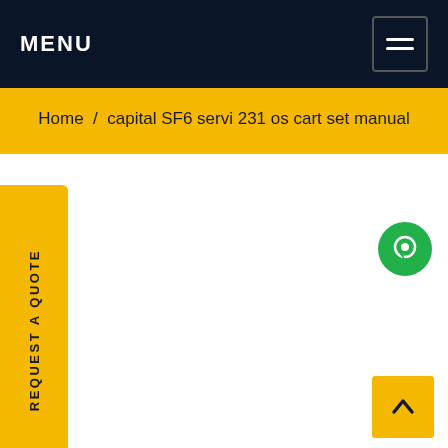MENU
Home / capital SF6 servi 231 os cart set manual
REQUEST A QUOTE
[Figure (illustration): Green circular chat/message button icon]
[Figure (illustration): Yellow back-to-top button with upward chevron arrow]